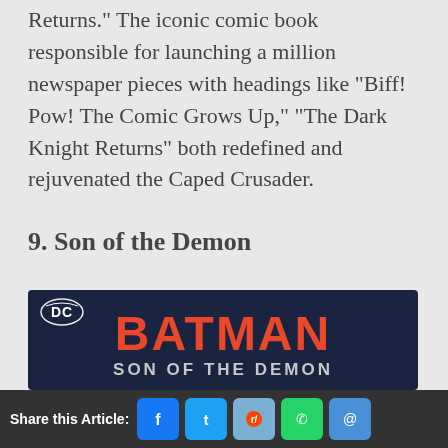Returns." The iconic comic book responsible for launching a million newspaper pieces with headings like "Biff! Pow! The Comic Grows Up," "The Dark Knight Returns" both redefined and rejuvenated the Caped Crusader.
9. Son of the Demon
[Figure (photo): Batman: Son of the Demon book cover with DC logo, BATMAN in large red letters, and SON OF THE DEMON subtitle on dark navy background]
Share this Article: [Facebook] [Twitter] [Reddit] [WhatsApp] [Email]